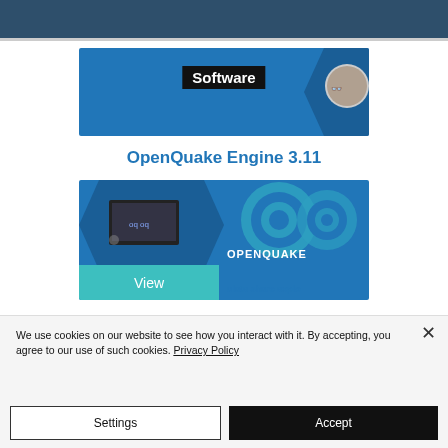[Figure (screenshot): Dark blue navigation bar at the top of the page, partially cropped]
[Figure (screenshot): Blue banner card with 'Software' label in black box, with hexagonal graphic and person photo on right side]
OpenQuake Engine 3.11
[Figure (screenshot): Blue card showing OpenQuake platform image with laptop photo in hexagon, OQ circular logo, OPENQUAKE text, teal 'View' button, and 'ulate share explo' tagline text]
We use cookies on our website to see how you interact with it. By accepting, you agree to our use of such cookies. Privacy Policy
Settings
Accept